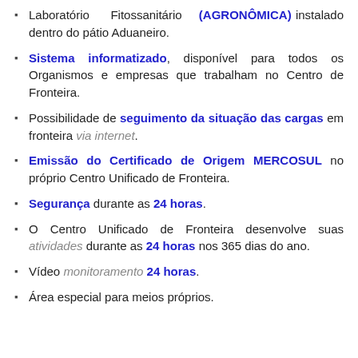Laboratório Fitossanitário (AGRONÔMICA) instalado dentro do pátio Aduaneiro.
Sistema informatizado, disponível para todos os Organismos e empresas que trabalham no Centro de Fronteira.
Possibilidade de seguimento da situação das cargas em fronteira via internet.
Emissão do Certificado de Origem MERCOSUL no próprio Centro Unificado de Fronteira.
Segurança durante as 24 horas.
O Centro Unificado de Fronteira desenvolve suas atividades durante as 24 horas nos 365 dias do ano.
Vídeo monitoramento 24 horas.
Área especial para meios próprios.